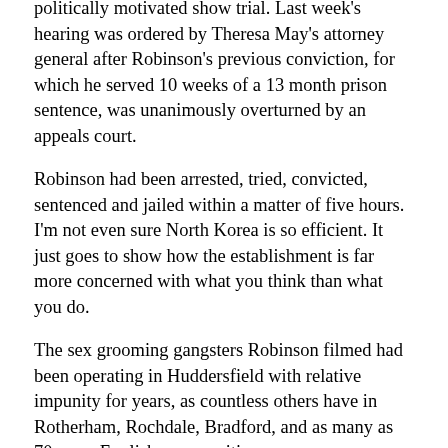politically motivated show trial. Last week's hearing was ordered by Theresa May's attorney general after Robinson's previous conviction, for which he served 10 weeks of a 13 month prison sentence, was unanimously overturned by an appeals court.
Robinson had been arrested, tried, convicted, sentenced and jailed within a matter of five hours. I'm not even sure North Korea is so efficient. It just goes to show how the establishment is far more concerned with what you think than what you do.
The sex grooming gangsters Robinson filmed had been operating in Huddersfield with relative impunity for years, as countless others have in Rotherham, Rochdale, Bradford, and as many as 70 more English communities.
These cases were not simply flying under the radar of the state and the mainstream media, but operating in plain view, being met with politically correct silence and wilful ignorance.
Robinson threatened the establishment's indifference, and has been its enemy ever since.
In doing so, he's proven that if they want to get you, they'll get you on something. It's worth noting that he's far from being a perfect hero. There are chapters in his past for which he's legitimately had to answer, though the media's criticisms have